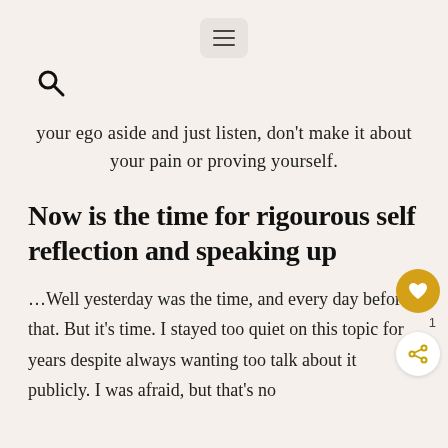hamburger menu icon
search icon
your ego aside and just listen, don't make it about your pain or proving yourself.
Now is the time for rigourous self reflection and speaking up
…Well yesterday was the time, and every day before that. But it's time. I stayed too quiet on this topic for years despite always wanting too talk about it publicly. I was afraid, but that's no